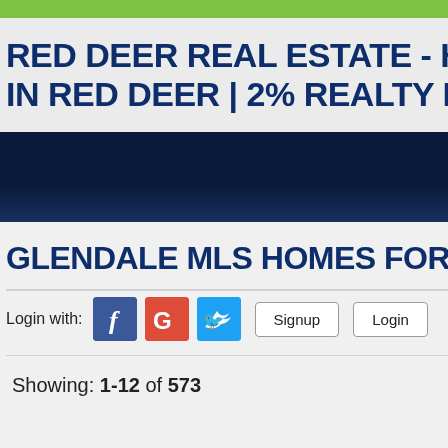RED DEER REAL ESTATE - HOUSES IN RED DEER | 2% REALTY RED DEER
[Figure (screenshot): Dark navy navigation bar]
GLENDALE MLS HOMES FOR SALE
Login with: [Facebook] [Google] [Twitter] Signup Login
Showing: 1-12 of 573